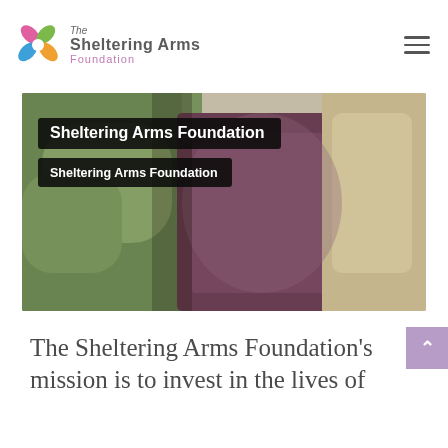The Sheltering Arms Foundation
[Figure (photo): Blurred outdoor photo showing green foliage on the left and a dark maroon/purple banner or sign on the right, with a blurred light-colored background. Overlaid with two dark semi-transparent text boxes: 'Sheltering Arms Foundation' (large) and 'Sheltering Arms Foundation' (smaller below).]
The Sheltering Arms Foundation's mission is to invest in the lives of